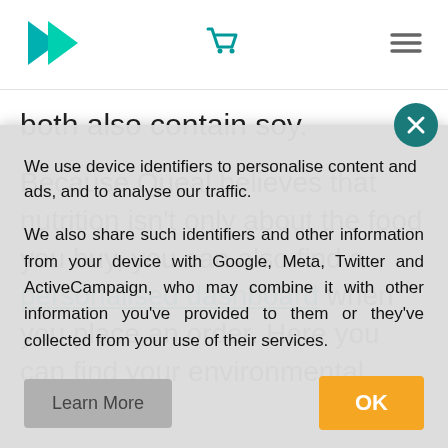[Queal logo, shopping cart icon, hamburger menu]
both also contain soy.
Because Queal believes that nutrition isn't only about the food you buy, you can also find a personalised dashboard when you place an order. Here you can find your environmental...
We use device identifiers to personalise content and ads, and to analyse our traffic.
We also share such identifiers and other information from your device with Google, Meta, Twitter and ActiveCampaign, who may combine it with other information you've provided to them or they've collected from your use of their services.